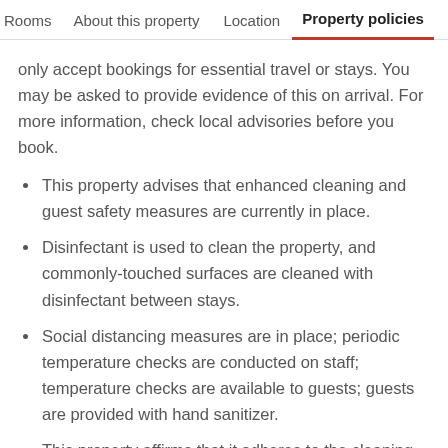Rooms  About this property  Location  Property policies
only accept bookings for essential travel or stays. You may be asked to provide evidence of this on arrival. For more information, check local advisories before you book.
This property advises that enhanced cleaning and guest safety measures are currently in place.
Disinfectant is used to clean the property, and commonly-touched surfaces are cleaned with disinfectant between stays.
Social distancing measures are in place; periodic temperature checks are conducted on staff; temperature checks are available to guests; guests are provided with hand sanitizer.
This property affirms that it adheres to the cleaning and disinfection practices of Safe Travels (WTTC -